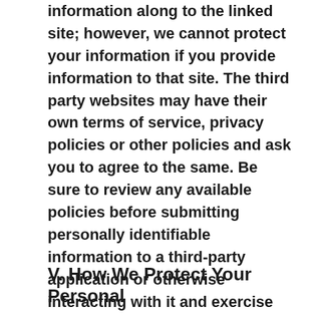information along to the linked site; however, we cannot protect your information if you provide information to that site. The third party websites may have their own terms of service, privacy policies or other policies and ask you to agree to the same. Be sure to review any available policies before submitting personally identifiable information to a third-party application or otherwise interacting with it and exercise caution in connection with these applications. We have no control over, and cannot and do not assume responsibility for, the content, privacy policies or practices of such websites or the companies that own them.
V. How We Protect Your Personal